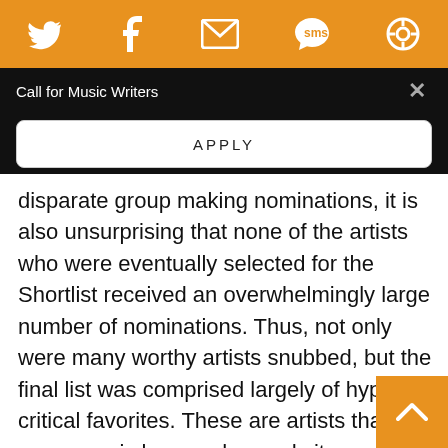[Figure (screenshot): Orange top navigation bar with Twitter, Facebook, email, SMS, and refresh icons in white]
Call for Music Writers
APPLY
disparate group making nominations, it is also unsurprising that none of the artists who were eventually selected for the Shortlist received an overwhelmingly large number of nominations. Thus, not only were many worthy artists snubbed, but the final list was comprised largely of hyped critical favorites. These are artists that many music lovers who read sites such as this have probably already checked out. Those looking for some genuinely new or out there, like the shrieking